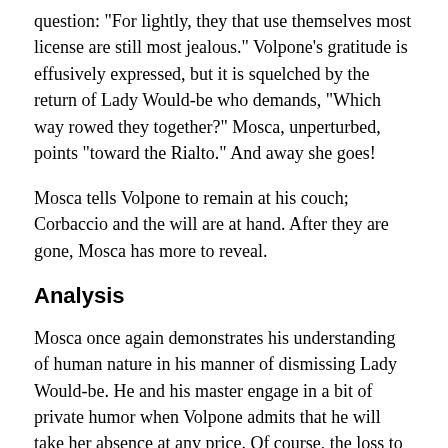question: "For lightly, they that use themselves most license are still most jealous." Volpone's gratitude is effusively expressed, but it is squelched by the return of Lady Would-be who demands, "Which way rowed they together?" Mosca, unperturbed, points "toward the Rialto." And away she goes!
Mosca tells Volpone to remain at his couch; Corbaccio and the will are at hand. After they are gone, Mosca has more to reveal.
Analysis
Mosca once again demonstrates his understanding of human nature in his manner of dismissing Lady Would-be. He and his master engage in a bit of private humor when Volpone admits that he will take her absence at any price. Of course, the loss to Volpone is the property of Lady Would-be! Notice that even though the cap is of little value, Mosca remembers to relieve the lady of her property.